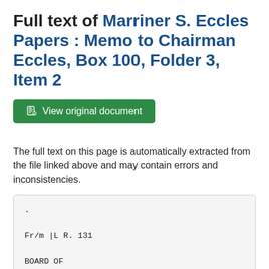Full text of Marriner S. Eccles Papers : Memo to Chairman Eccles, Box 100, Folder 3, Item 2
View original document
The full text on this page is automatically extracted from the file linked above and may contain errors and inconsistencies.
.

Fr/m |L R. 131

BOARD OF
or